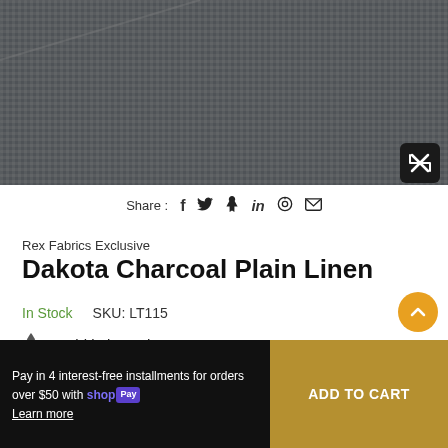[Figure (photo): Close-up photo of dark charcoal/grey woven linen fabric with an expand/fullscreen button in the bottom-right corner]
Share : f 🐦 𝗽 in ⊙ ✉
Rex Fabrics Exclusive
Dakota Charcoal Plain Linen
In Stock    SKU: LT115
🔥 5 sold in last 2 hours
Pay in 4 interest-free installments for orders over $50 with shop Pay
Learn more
ADD TO CART